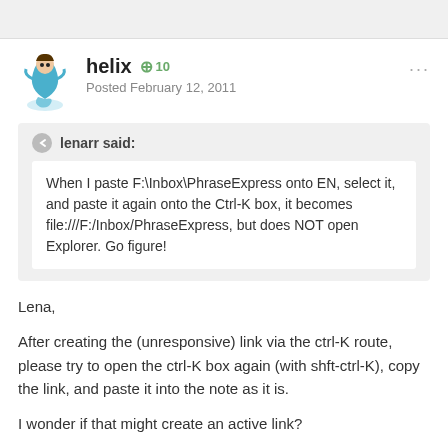[Figure (other): Forum post avatar: animated character with blue swirl]
helix   +10
Posted February 12, 2011
lenarr said:
When I paste F:\Inbox\PhraseExpress onto EN, select it, and paste it again onto the Ctrl-K box, it becomes file:///F:/Inbox/PhraseExpress, but does NOT open Explorer. Go figure!
Lena,
After creating the (unresponsive) link via the ctrl-K route, please try to open the ctrl-K box again (with shft-ctrl-K), copy the link, and paste it into the note as it is.
I wonder if that might create an active link?
helix